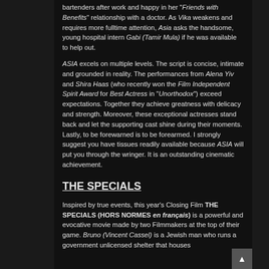bartenders after work and happy in her "Friends with Benefits" relationship with a doctor. As Vika weakens and requires more fulltime attention, Asia asks the handsome, young hospital intern Gabi (Tamir Mula) if he was available to help out.
ASIA excels on multiple levels. The script is concise, intimate and grounded in reality. The performances from Alena Yiv and Shira Haas (who recently won the Film Independent Spirit Award for Best Actress in "Unorthodox") exceed expectations. Together they achieve greatness with delicacy and strength. Moreover, these exceptional actresses stand back and let the supporting cast shine during their moments. Lastly, to be forewarned is to be forearmed. I strongly suggest you have tissues readily available because ASIA will put you through the wringer. It is an outstanding cinematic achievement.
THE SPECIALS
Inspired by true events, this year's Closing Film THE SPECIALS (HORS NORMES en français) is a powerful and evocative movie made by two Filmmakers at the top of their game. Bruno (Vincent Cassel) is a Jewish man who runs a government unlicensed shelter that houses